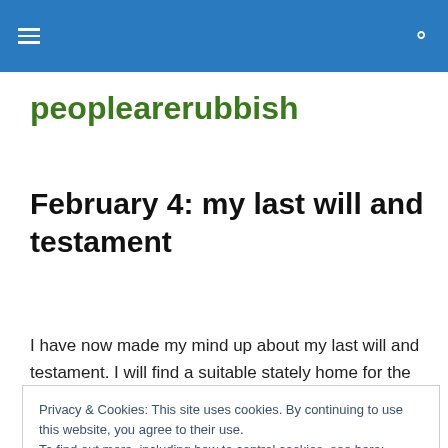peoplearerubbish — site navigation header with menu and search icons
peoplearerubbish
February 4: my last will and testament
I have now made my mind up about my last will and testament. I will find a suitable stately home for the
Privacy & Cookies: This site uses cookies. By continuing to use this website, you agree to their use.
To find out more, including how to control cookies, see here: Cookie Policy
Close and accept